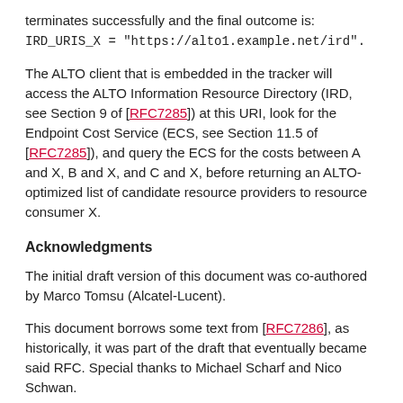terminates successfully and the final outcome is: IRD_URIS_X = "https://alto1.example.net/ird".
The ALTO client that is embedded in the tracker will access the ALTO Information Resource Directory (IRD, see Section 9 of [RFC7285]) at this URI, look for the Endpoint Cost Service (ECS, see Section 11.5 of [RFC7285]), and query the ECS for the costs between A and X, B and X, and C and X, before returning an ALTO-optimized list of candidate resource providers to resource consumer X.
Acknowledgments
The initial draft version of this document was co-authored by Marco Tomsu (Alcatel-Lucent).
This document borrows some text from [RFC7286], as historically, it was part of the draft that eventually became said RFC. Special thanks to Michael Scharf and Nico Schwan.